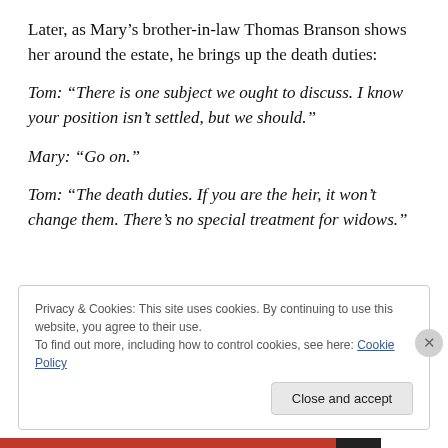Later, as Mary’s brother-in-law Thomas Branson shows her around the estate, he brings up the death duties:
Tom: “There is one subject we ought to discuss. I know your position isn’t settled, but we should.”
Mary: “Go on.”
Tom: “The death duties. If you are the heir, it won’t change them. There’s no special treatment for widows.”
Privacy & Cookies: This site uses cookies. By continuing to use this website, you agree to their use. To find out more, including how to control cookies, see here: Cookie Policy
Close and accept